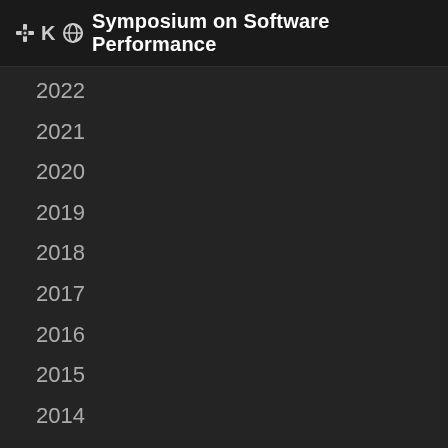Symposium on Software Performance
2022
2021
2020
2019
2018
2017
2016
2015
2014
2013